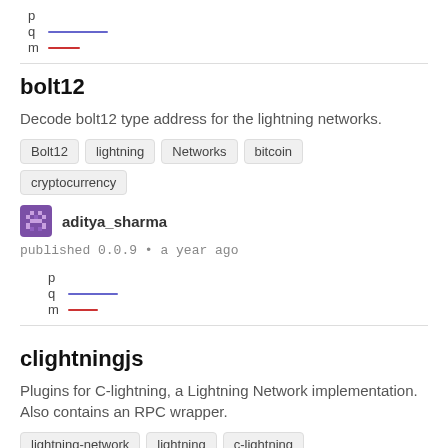[Figure (other): p q m legend with colored lines: q=purple line, m=red line]
bolt12
Decode bolt12 type address for the lightning networks.
Bolt12
lightning
Networks
bitcoin
cryptocurrency
aditya_sharma
published 0.0.9 • a year ago
[Figure (other): p q m legend with colored lines: q=purple line, m=red line (smaller version)]
clightningjs
Plugins for C-lightning, a Lightning Network implementation. Also contains an RPC wrapper.
lightning-network
lightning
c-lightning